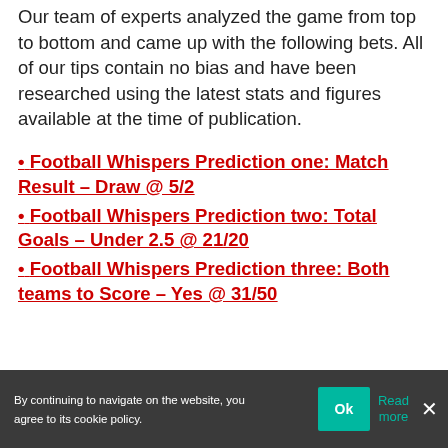Our team of experts analyzed the game from top to bottom and came up with the following bets. All of our tips contain no bias and have been researched using the latest stats and figures available at the time of publication.
• Football Whispers Prediction one: Match Result – Draw @ 5/2
• Football Whispers Prediction two: Total Goals – Under 2.5 @ 21/20
• Football Whispers Prediction three: Both teams to Score – Yes @ 31/50
By continuing to navigate on the website, you agree to its cookie policy. Ok Read more ×